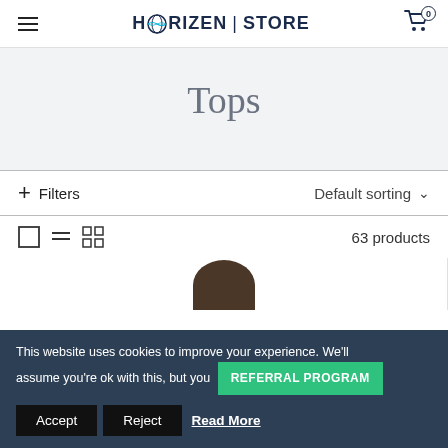HORIZEN | STORE
Tops
+ Filters   Default sorting
63 products
[Figure (photo): Partial view of a product (person wearing a top), partially cropped at bottom of viewport]
This website uses cookies to improve your experience. We'll assume you're ok with this, but you   REFERRAL PROGRAM   Read More   Accept   Reject